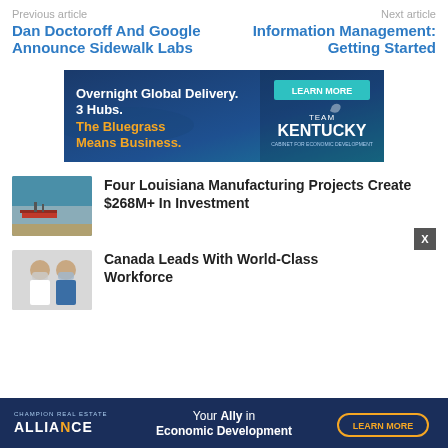Previous article
Next article
Dan Doctoroff And Google Announce Sidewalk Labs
Information Management: Getting Started
[Figure (illustration): Team Kentucky advertisement banner: Overnight Global Delivery. 3 Hubs. The Bluegrass Means Business. LEARN MORE button. Team Kentucky Cabinet for Economic Development logo.]
[Figure (photo): Aerial photo of Louisiana waterway with industrial ships and port facilities.]
Four Louisiana Manufacturing Projects Create $268M+ In Investment
[Figure (photo): Two women wearing masks, appearing to be in a lab or medical setting.]
Canada Leads With World-Class Workforce
[Figure (illustration): Champion Real Estate Alliance advertisement: Your Ally in Economic Development. LEARN MORE button.]